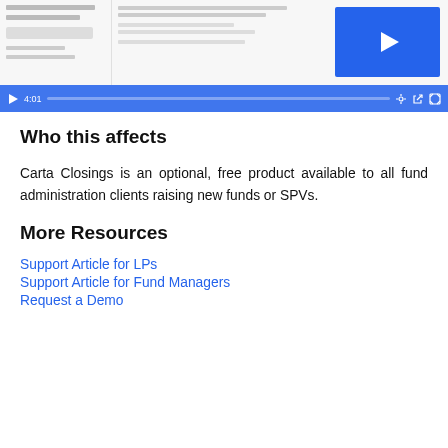[Figure (screenshot): Video screenshot of Carta Closings product UI with a blue play button overlay, and a video player control bar showing time 4:01 and playback controls on a blue background.]
Who this affects
Carta Closings is an optional, free product available to all fund administration clients raising new funds or SPVs.
More Resources
Support Article for LPs
Support Article for Fund Managers
Request a Demo